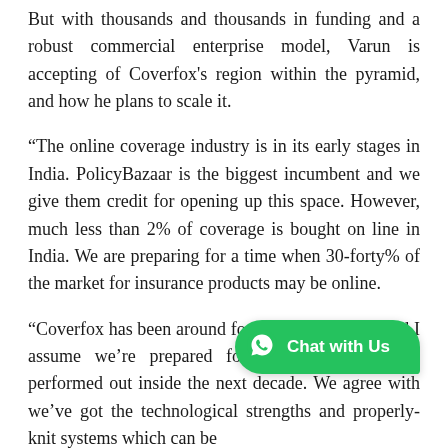But with thousands and thousands in funding and a robust commercial enterprise model, Varun is accepting of Coverfox's region within the pyramid, and how he plans to scale it.
“The online coverage industry is in its early stages in India. PolicyBazaar is the biggest incumbent and we give them credit for opening up this space. However, much less than 2% of coverage is bought on line in India. We are preparing for a time when 30-forty% of the market for insurance products may be online.
“Coverfox has been around for two.5 years now, and I assume we’re prepared for the sport that’ll be performed out inside the next decade. We agree with we’ve got the technological strengths and properly-knit systems which can be another participant these days. We have entered
[Figure (other): WhatsApp Chat with Us widget button in green color with WhatsApp logo icon]